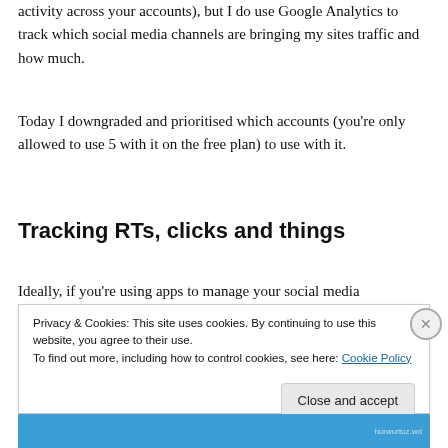activity across your accounts), but I do use Google Analytics to track which social media channels are bringing my sites traffic and how much.
Today I downgraded and prioritised which accounts (you're only allowed to use 5 with it on the free plan) to use with it.
Tracking RTs, clicks and things
Ideally, if you're using apps to manage your social media
Privacy & Cookies: This site uses cookies. By continuing to use this website, you agree to their use.
To find out more, including how to control cookies, see here: Cookie Policy
Close and accept